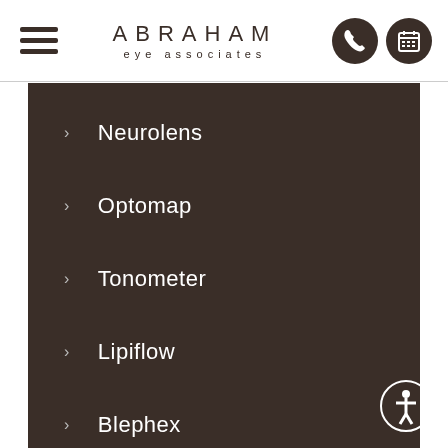ABRAHAM eye associates
> Neurolens
> Optomap
> Tonometer
> Lipiflow
> Blephex